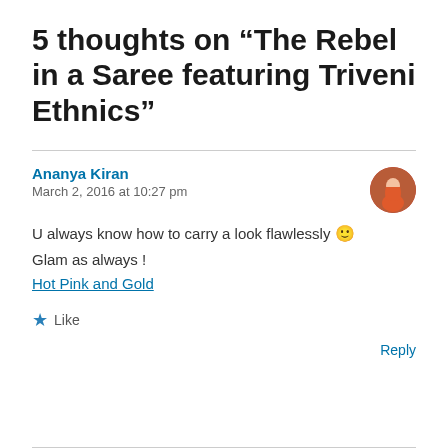5 thoughts on “The Rebel in a Saree featuring Triveni Ethnics”
Ananya Kiran
March 2, 2016 at 10:27 pm
U always know how to carry a look flawlessly 🙂
Glam as always !
Hot Pink and Gold
★ Like
Reply